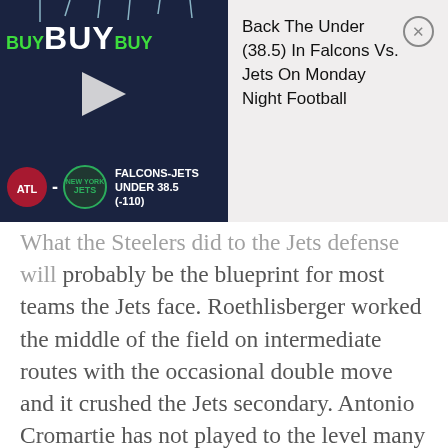[Figure (infographic): Advertisement banner for sports betting: 'Back The Under (38.5) In Falcons Vs. Jets On Monday Night Football' with BUY BUY BUY text, play button, Falcons and Jets logos, and 'FALCONS-JETS UNDER 38.5 (-110)' text on dark navy background.]
What the Steelers did to the Jets defense will probably be the blueprint for most teams the Jets face. Roethlisberger worked the middle of the field on intermediate routes with the occasional double move and it crushed the Jets secondary. Antonio Cromartie has not played to the level many have expected and he really needs to get healthy and elevate his play... fast. Rookie Dee Milliner will be back in the secondary but who knows if that's even a good thing. At the very least, Milliner should continue to improve as